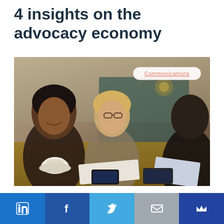4 insights on the advocacy economy
[Figure (photo): Three people laughing and talking at a restaurant/cafe table with phones, papers, and a coffee cup. A 'Communications' badge is overlaid in the top right of the image.]
Reevoo, the customer ratings and reviews firm, held an expert panel to discuss the advocacy economy. Here are four key insights from that talk.
[Figure (infographic): Social sharing bar with five buttons: LinkedIn (blue), Facebook (dark blue), Twitter (light blue), Email (gray), and a crown/brand icon (dark blue).]